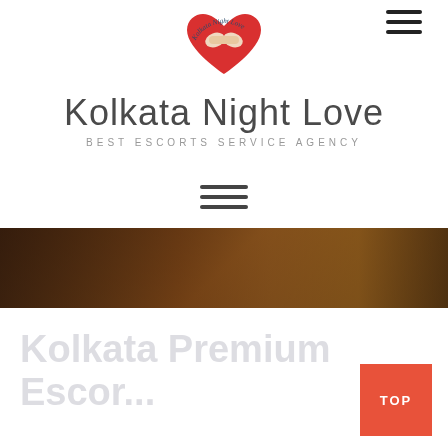[Figure (logo): Kolkata Night Love logo: red heart shape with two hands shaking inside, cursive text 'Kolkata Night Love' arcing around the top]
Kolkata Night Love
BEST ESCORTS SERVICE AGENCY
[Figure (other): Hamburger menu icon (three horizontal lines) centered on page]
[Figure (photo): Partial photo of a woman with dark hair, dimly lit background]
Kolkata Premium Escor...
[Figure (other): Red square button with white text 'TOP' in the bottom right corner]